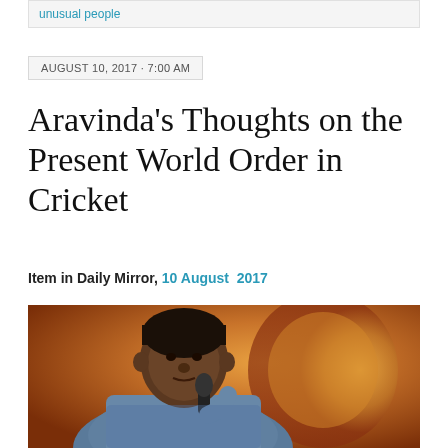unusual people
AUGUST 10, 2017 · 7:00 AM
Aravinda's Thoughts on the Present World Order in Cricket
Item in Daily Mirror, 10 August 2017
[Figure (photo): Man in blue shirt holding a microphone, speaking at an event, with orange/amber decorative background]